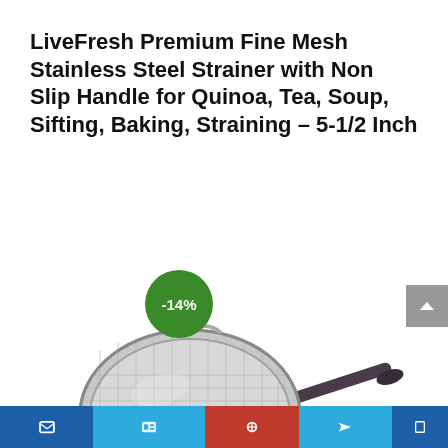LiveFresh Premium Fine Mesh Stainless Steel Strainer with Non Slip Handle for Quinoa, Tea, Soup, Sifting, Baking, Straining – 5-1/2 Inch
[Figure (photo): A stainless steel fine mesh strainer with a dark non-slip handle, shown at an angle. A green circular badge showing '-14%' discount appears in the upper-left area of the product image.]